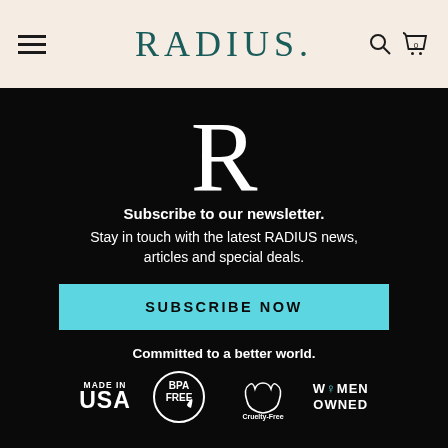RADIUS.
[Figure (logo): Large letter R logo in white on black background]
Subscribe to our newsletter. Stay in touch with the latest RADIUS news, articles and special deals.
SUBSCRIBE NOW
Committed to a better world.
[Figure (infographic): Four certification badges: MADE IN USA, BPA FREE, Cruelty-Free, WOMEN OWNED]